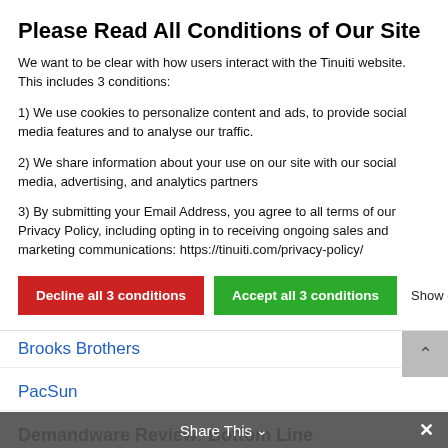Please Read All Conditions of Our Site
We want to be clear with how users interact with the Tinuiti website. This includes 3 conditions:
1) We use cookies to personalize content and ads, to provide social media features and to analyse our traffic.
2) We share information about your use on our site with our social media, advertising, and analytics partners
3) By submitting your Email Address, you agree to all terms of our Privacy Policy, including opting in to receiving ongoing sales and marketing communications: https://tinuiti.com/privacy-policy/
Decline all 3 conditions | Accept all 3 conditions | Show details
Brooks Brothers
PacSun
Demandware Review: Bottom Line
Demandware is best for large-sized, enterprise-level retailers looking for an all-inclusive